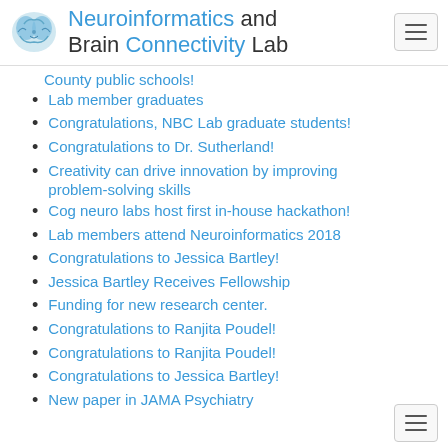Neuroinformatics and Brain Connectivity Lab
County public schools!
Lab member graduates
Congratulations, NBC Lab graduate students!
Congratulations to Dr. Sutherland!
Creativity can drive innovation by improving problem-solving skills
Cog neuro labs host first in-house hackathon!
Lab members attend Neuroinformatics 2018
Congratulations to Jessica Bartley!
Jessica Bartley Receives Fellowship
Funding for new research center.
Congratulations to Ranjita Poudel!
Congratulations to Ranjita Poudel!
Congratulations to Jessica Bartley!
New paper in JAMA Psychiatry